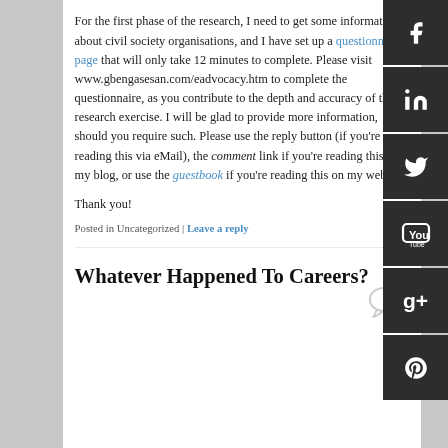For the first phase of the research, I need to get some information about civil society organisations, and I have set up a questionnaire page that will only take 12 minutes to complete. Please visit www.gbengasesan.com/eadvocacy.htm to complete the questionnaire, as you contribute to the depth and accuracy of the research exercise. I will be glad to provide more information, should you require such. Please use the reply button (if you're reading this via eMail), the comment link if you're reading this on my blog, or use the guestbook if you're reading this on my website.
Thank you!
Posted in Uncategorized | Leave a reply
Whatever Happened To Careers?